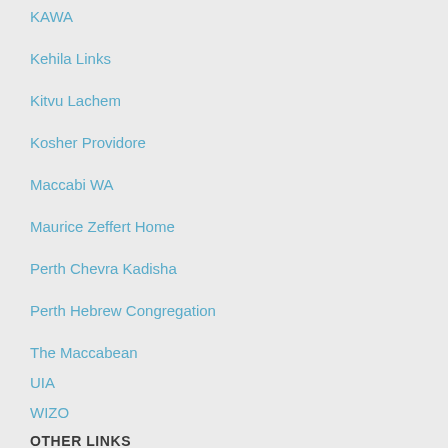KAWA
Kehila Links
Kitvu Lachem
Kosher Providore
Maccabi WA
Maurice Zeffert Home
Perth Chevra Kadisha
Perth Hebrew Congregation
The Maccabean
UIA
WIZO
OTHER LINKS